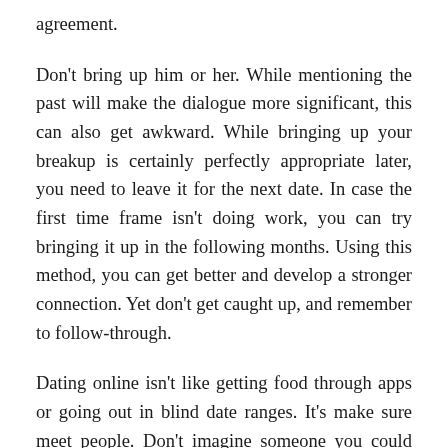agreement.
Don't bring up him or her. While mentioning the past will make the dialogue more significant, this can also get awkward. While bringing up your breakup is certainly perfectly appropriate later, you need to leave it for the next date. In case the first time frame isn't doing work, you can try bringing it up in the following months. Using this method, you can get better and develop a stronger connection. Yet don't get caught up, and remember to follow-through.
Dating online isn't like getting food through apps or going out in blind date ranges. It's make sure meet people. Don't imagine someone you could have met on the web is your soul mate. Like is certainly not something you may force, and you should never make it happen on a impulse. The initially date should be about…